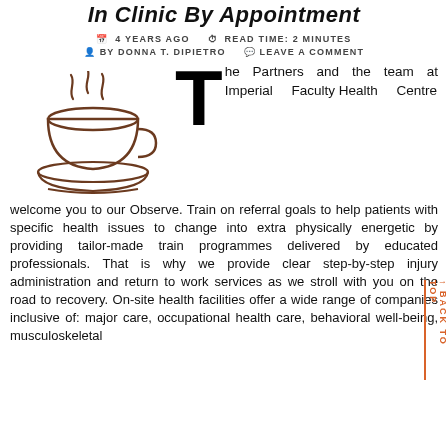In Clinic By Appointment
4 YEARS AGO   READ TIME: 2 MINUTES
BY DONNA T. DIPIETRO   LEAVE A COMMENT
[Figure (illustration): A line drawing of a steaming coffee cup on a saucer, drawn in brown ink style.]
The Partners and the team at Imperial Faculty Health Centre welcome you to our Observe. Train on referral goals to help patients with specific health issues to change into extra physically energetic by providing tailor-made train programmes delivered by educated professionals. That is why we provide clear step-by-step injury administration and return to work services as we stroll with you on the road to recovery. On-site health facilities offer a wide range of companies inclusive of: major care, occupational health care, behavioral well-being, musculoskeletal